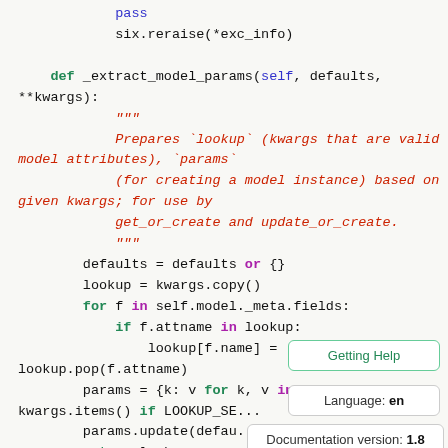six.reraise(*exc_info)

def _extract_model_params(self, defaults, **kwargs):
    """
    Prepares `lookup` (kwargs that are valid model attributes), `params`
    (for creating a model instance) based on given kwargs; for use by
    get_or_create and update_or_create.
    """
    defaults = defaults or {}
    lookup = kwargs.copy()
    for f in self.model._meta.fields:
        if f.attname in lookup:
            lookup[f.name] = lookup.pop(f.attname)
    params = {k: v for k, v in kwargs.items() if LOOKUP_SE...
    params.update(defau...
    return lookup, params
Getting Help
Language: en
Documentation version: 1.8